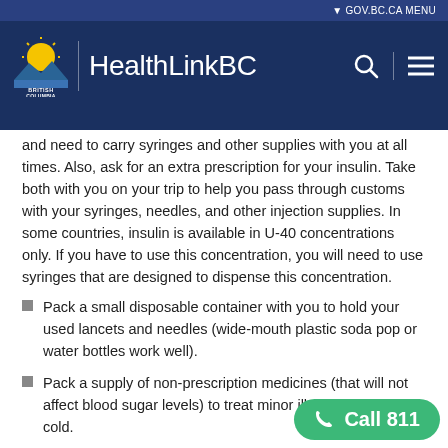HealthLinkBC — GOV.BC.CA MENU
and need to carry syringes and other supplies with you at all times. Also, ask for an extra prescription for your insulin. Take both with you on your trip to help you pass through customs with your syringes, needles, and other injection supplies. In some countries, insulin is available in U-40 concentrations only. If you have to use this concentration, you will need to use syringes that are designed to dispense this concentration.
Pack a small disposable container with you to hold your used lancets and needles (wide-mouth plastic soda pop or water bottles work well).
Pack a supply of non-prescription medicines (that will not affect blood sugar levels) to treat minor illnesses such as a cold.
Pack a language/translation book o...